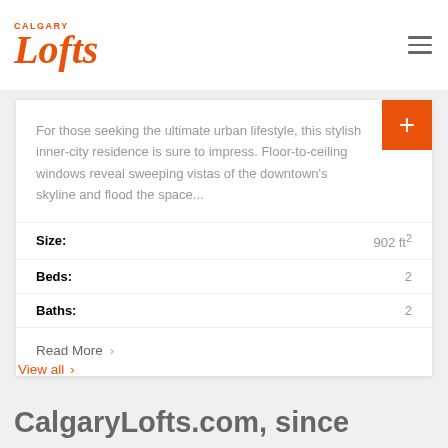[Figure (logo): Calgary Lofts logo in orange with stylized text]
For those seeking the ultimate urban lifestyle, this stylish inner-city residence is sure to impress. Floor-to-ceiling windows reveal sweeping vistas of the downtown's skyline and flood the space...
Size: 902 ft²
Beds: 2
Baths: 2
Read More >
View all >
CalgaryLofts.com, since